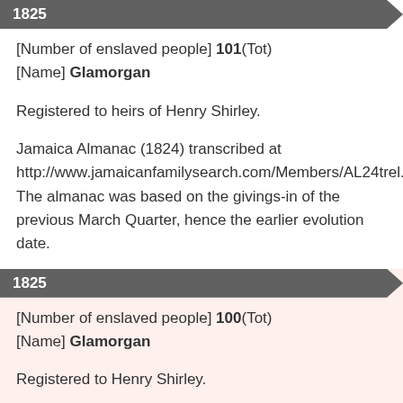1825
[Number of enslaved people] 101(Tot)
[Name] Glamorgan
Registered to heirs of Henry Shirley.
Jamaica Almanac (1824) transcribed at http://www.jamaicanfamilysearch.com/Members/AL24trel.htm. The almanac was based on the givings-in of the previous March Quarter, hence the earlier evolution date.
1825
[Number of enslaved people] 100(Tot)
[Name] Glamorgan
Registered to Henry Shirley.
Jamaica Almanac (1826) transcribed at http://www.jamaicanfamilysearch.com/Members/